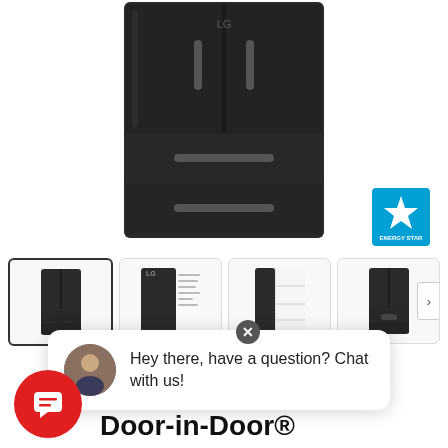[Figure (photo): Black stainless steel LG French door refrigerator with four doors, centered on white background]
[Figure (logo): ENERGY STAR certification badge in blue]
[Figure (screenshot): Thumbnail strip with four product images of the refrigerator from various angles, first thumbnail selected with border, next arrow button on right]
[Figure (screenshot): Live chat popup overlay with avatar photo of a person, text: Hey there, have a question? Chat with us!, with close X button]
[Figure (infographic): Red circular chat button with message/chat icon]
u. ft. Smart wi-fi oled InstaView™ Door-in-Door®